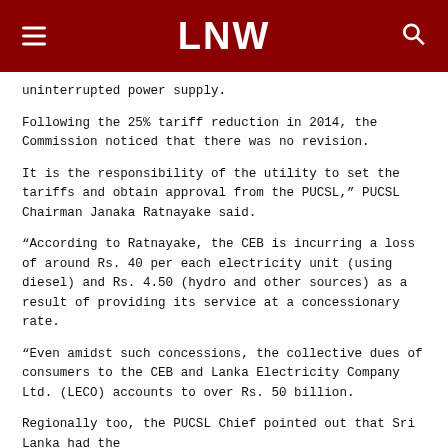LNW
uninterrupted power supply.
Following the 25% tariff reduction in 2014, the Commission noticed that there was no revision.
It is the responsibility of the utility to set the tariffs and obtain approval from the PUCSL,” PUCSL Chairman Janaka Ratnayake said.
“According to Ratnayake, the CEB is incurring a loss of around Rs. 40 per each electricity unit (using diesel) and Rs. 4.50 (hydro and other sources) as a result of providing its service at a concessionary rate.
“Even amidst such concessions, the collective dues of consumers to the CEB and Lanka Electricity Company Ltd. (LECO) accounts to over Rs. 50 billion.
Regionally too, the PUCSL Chief pointed out that Sri Lanka had the